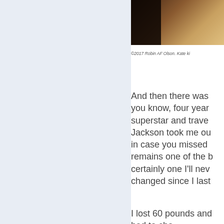[Figure (photo): A dark photograph showing a figure, partially visible, with warm brown/tan background tones, cropped at the right edge of the page.]
©2017 Robin AF Olson. Kate ki
And then there was you know, four year superstar and trave Jackson took me ou in case you missed remains one of the b certainly one I'll nev changed since I last
I lost 60 pounds and had to cho color fail. Would he even know